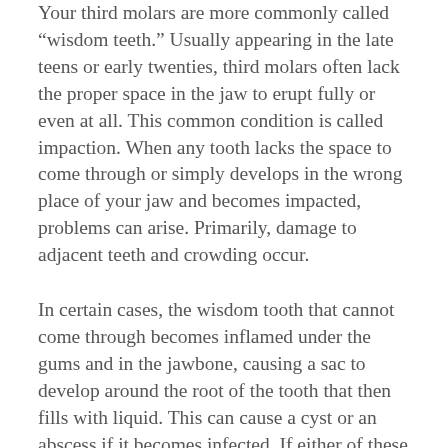Your third molars are more commonly called "wisdom teeth." Usually appearing in the late teens or early twenties, third molars often lack the proper space in the jaw to erupt fully or even at all. This common condition is called impaction. When any tooth lacks the space to come through or simply develops in the wrong place of your jaw and becomes impacted, problems can arise. Primarily, damage to adjacent teeth and crowding occur.
In certain cases, the wisdom tooth that cannot come through becomes inflamed under the gums and in the jawbone, causing a sac to develop around the root of the tooth that then fills with liquid. This can cause a cyst or an abscess if it becomes infected. If either of these situations goes untreated, serious damage to the underlying bone and surrounding teeth and tissues can result.
To potentially stave off this result, an extraction of one,